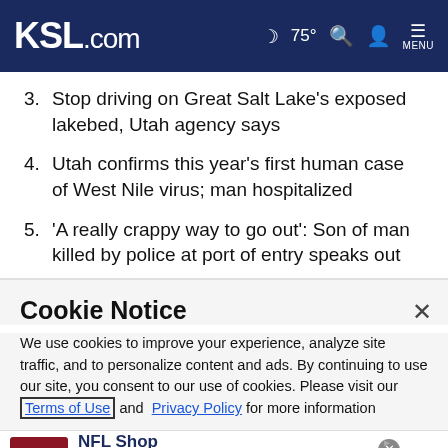KSL.com  75°  MENU
3. Stop driving on Great Salt Lake's exposed lakebed, Utah agency says
4. Utah confirms this year's first human case of West Nile virus; man hospitalized
5. 'A really crappy way to go out': Son of man killed by police at port of entry speaks out
Cookie Notice
We use cookies to improve your experience, analyze site traffic, and to personalize content and ads. By continuing to use our site, you consent to our use of cookies. Please visit our Terms of Use and  Privacy Policy for more information
[Figure (screenshot): NFL Shop advertisement banner with shop now button and navigation arrow]
NFL Shop
Free shipping on orders over $25
www.nflshop.com
SHOP NOW